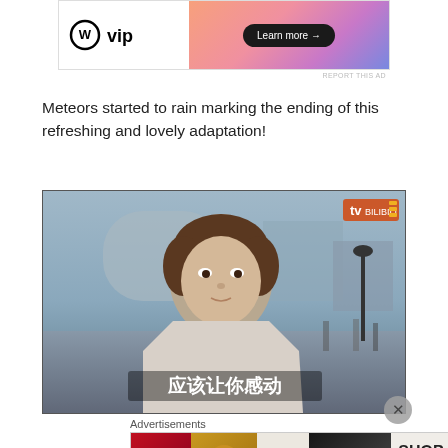[Figure (screenshot): WordPress VIP advertisement banner with gradient pink/purple background and 'Learn more →' button]
Meteors started to rain marking the ending of this refreshing and lovely adaptation!
[Figure (screenshot): Video still of a young Asian man in a turtleneck and coat standing on a London riverside walkway, with Chinese subtitle text '应该让你感动' and a TV streaming logo in the top right]
Advertisements
[Figure (screenshot): ULTA Beauty advertisement banner with makeup imagery and 'SHOP NOW' text]